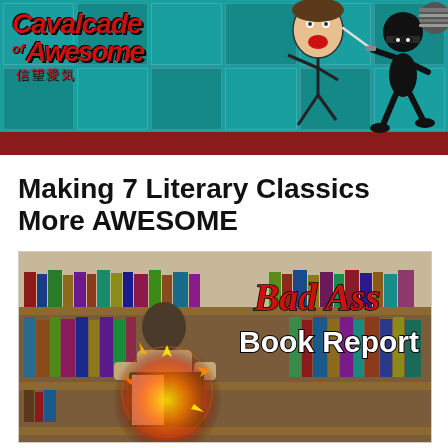[Figure (illustration): Cavalcade of Awesome website banner with teal tile background, red Cavalcade of Awesome logo text with Japanese kanji, a person's face, a running ninja figure with sword, and dark red bottom stripe]
Making 7 Literary Classics More AWESOME
[Figure (photo): Bad Ass Book Report promotional image showing a person reading a book with an explosion effect coming from it, in front of a bookshelf. Text overlay reads 'Bad Ass Book Report' in red italic and white bold fonts.]